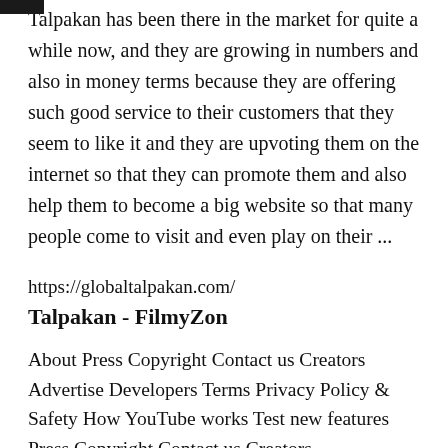Talpakan has been there in the market for quite a while now, and they are growing in numbers and also in money terms because they are offering such good service to their customers that they seem to like it and they are upvoting them on the internet so that they can promote them and also help them to become a big website so that many people come to visit and even play on their ...
https://globaltalpakan.com/
Talpakan - FilmyZon
About Press Copyright Contact us Creators Advertise Developers Terms Privacy Policy & Safety How YouTube works Test new features Press Copyright Contact us Creators ...
https://filmyzon.com/talpakan/